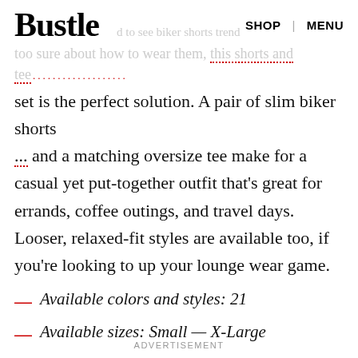Bustle  SHOP  MENU
too sure about how to wear them, this shorts and tee set is the perfect solution. A pair of slim biker shorts and a matching oversize tee make for a casual yet put-together outfit that’s great for errands, coffee outings, and travel days. Looser, relaxed-fit styles are available too, if you’re looking to up your lounge wear game.
Available colors and styles: 21
Available sizes: Small — X-Large
ADVERTISEMENT